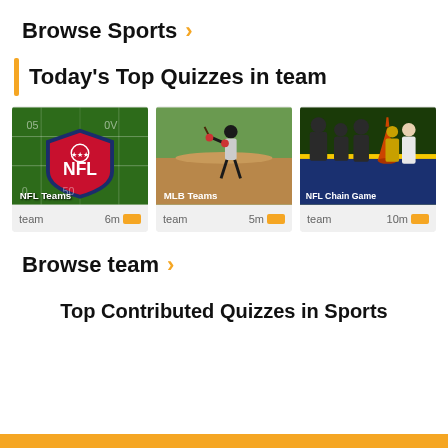Browse Sports ›
Today's Top Quizzes in team
[Figure (photo): NFL logo on football field — NFL Teams quiz card]
[Figure (photo): Baseball batter at plate — MLB Teams quiz card]
[Figure (photo): Football players on field — NFL Chain Game quiz card]
team  6m
team  5m
team  10m
Browse team ›
Top Contributed Quizzes in Sports